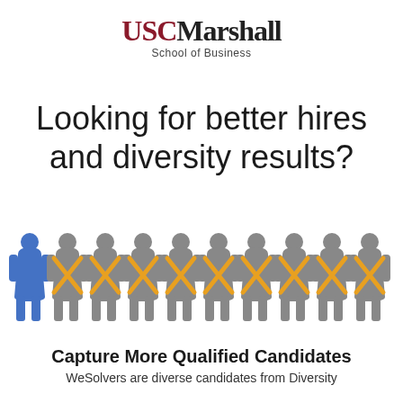[Figure (logo): USC Marshall School of Business logo — 'USC' in dark red serif, 'Marshall' in black serif, 'School of Business' subtitle below]
Looking for better hires and diversity results?
[Figure (infographic): Row of 10 human figure icons: first figure is blue (selected), remaining 9 are grey with orange X marks overlaid on torso, representing rejected/unqualified candidates]
Capture More Qualified Candidates
WeSolvers are diverse candidates from Diversity